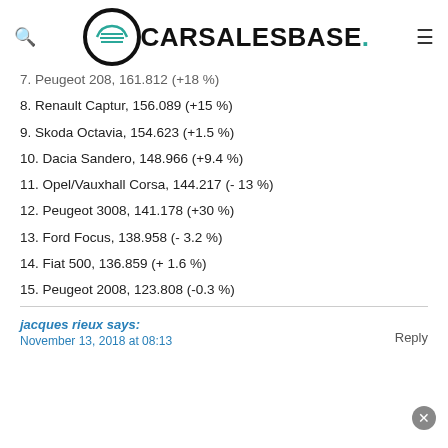CARSALESBASE.
7. Peugeot 208, 161.812 (+18 %)
8. Renault Captur, 156.089 (+15 %)
9. Skoda Octavia, 154.623 (+1.5 %)
10. Dacia Sandero, 148.966 (+9.4 %)
11. Opel/Vauxhall Corsa, 144.217 (- 13 %)
12. Peugeot 3008, 141.178 (+30 %)
13. Ford Focus, 138.958 (- 3.2 %)
14. Fiat 500, 136.859 (+ 1.6 %)
15. Peugeot 2008, 123.808 (-0.3 %)
jacques rieux says:
November 13, 2018 at 08:13